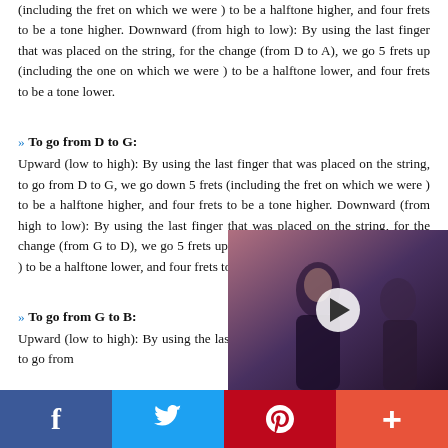(including the fret on which we were ) to be a halftone higher, and four frets to be a tone higher. Downward (from high to low): By using the last finger that was placed on the string, for the change (from D to A), we go 5 frets up (including the one on which we were ) to be a halftone lower, and four frets to be a tone lower.
» To go from D to G:
Upward (low to high): By using the last finger that was placed on the string, to go from D to G, we go down 5 frets (including the fret on which we were ) to be a halftone higher, and four frets to be a tone higher. Downward (from high to low): By using the last finger that was placed on the string, for the change (from G to D), we go 5 frets up (including the one on which we were ) to be a halftone lower, and four frets to be a tone lower.
» To go from G to B:
Upward (low to high): By using the last finger that was placed on the string, to go from...
[Figure (photo): Video thumbnail overlay showing a woman at a formal event, with a red badge and play button]